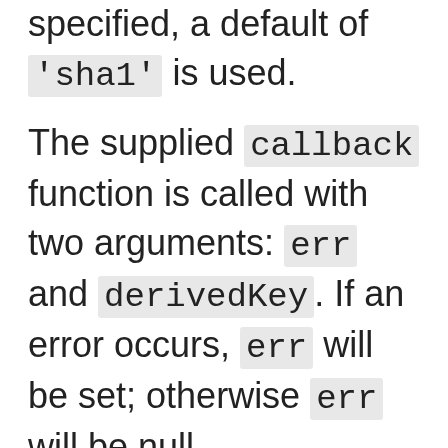specified, a default of 'sha1' is used.
The supplied callback function is called with two arguments: err and derivedKey. If an error occurs, err will be set; otherwise err will be null.